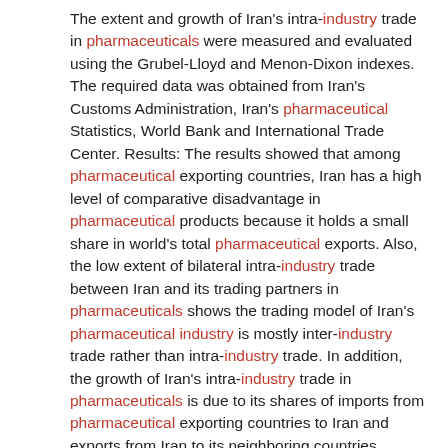The extent and growth of Iran’s intra-industry trade in pharmaceuticals were measured and evaluated using the Grubel-Lloyd and Menon-Dixon indexes. The required data was obtained from Iran’s Customs Administration, Iran’s pharmaceutical Statistics, World Bank and International Trade Center. Results: The results showed that among pharmaceutical exporting countries, Iran has a high level of comparative disadvantage in pharmaceutical products because it holds a small share in world’s total pharmaceutical exports. Also, the low extent of bilateral intra-industry trade between Iran and its trading partners in pharmaceuticals shows the trading model of Iran’s pharmaceutical industry is mostly inter-industry trade rather than intra-industry trade. In addition, the growth of Iran’s intra-industry trade in pharmaceuticals is due to its shares of imports from pharmaceutical exporting countries to Iran and exports from Iran to its neighboring countries. Conclusions: The results of the analysis can play a valuable role in helping pharmaceutical companies and policy makers to boost pharmaceutical trade. PMID:26153184
11. Determinants of Iran’s BilateralIntra-industry Trade in Pharmaceutical Industry.